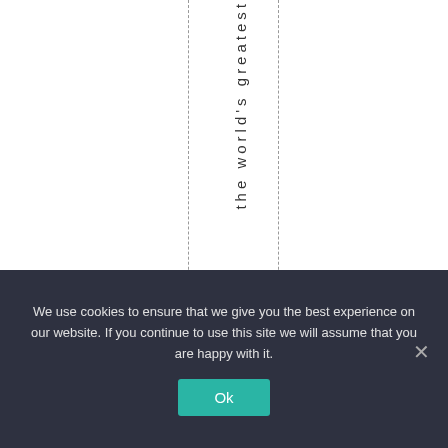the world's greatest
We use cookies to ensure that we give you the best experience on our website. If you continue to use this site we will assume that you are happy with it.